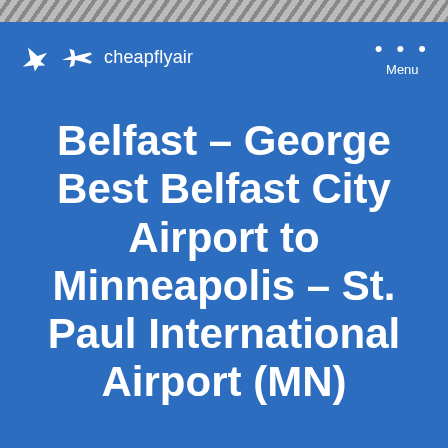[Figure (screenshot): Diagonal stripe pattern at top of page, gray/dark alternating stripes]
cheapflyair
Belfast – George Best Belfast City Airport to Minneapolis – St. Paul International Airport (MN)
FLIGHT
HOTEL